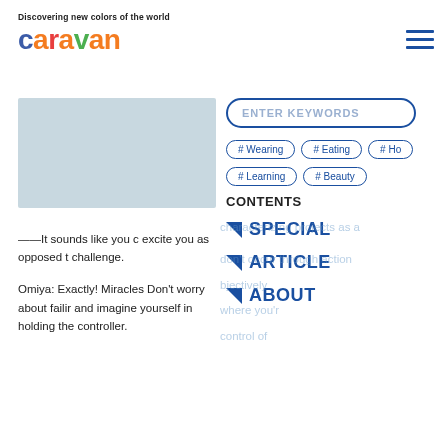Discovering new colors of the world
caravan
[Figure (illustration): Caravan magazine logo with colorful lettering and hamburger menu icon]
[Figure (photo): Light blue-grey photo placeholder image]
ENTER KEYWORDS
# Wearing
# Eating
# Ho
# Learning
# Beauty
CONTENTS
SPECIAL
ARTICLE
ABOUT
——It sounds like you c excite you as opposed t challenge.
Omiya: Exactly! Miracles Don't worry about failir and imagine yourself in holding the controller.